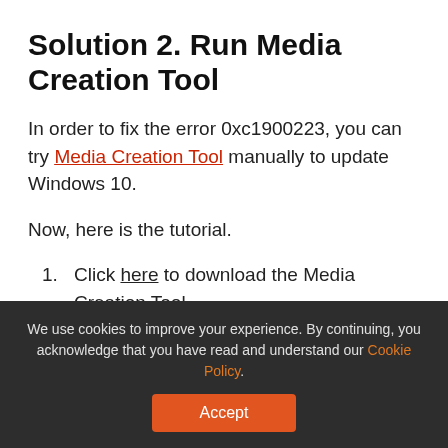Solution 2. Run Media Creation Tool
In order to fix the error 0xc1900223, you can try Media Creation Tool manually to update Windows 10.
Now, here is the tutorial.
Click here to download the Media Creation Tool.
Run it on your computer.
We use cookies to improve your experience. By continuing, you acknowledge that you have read and understand our Cookie Policy.